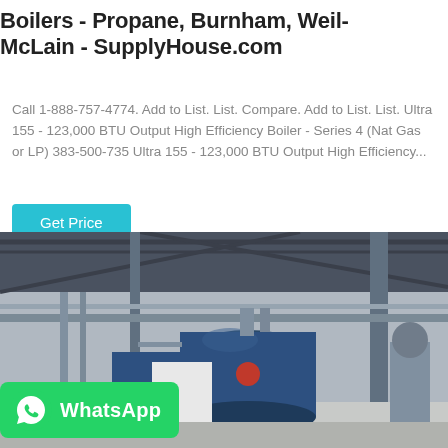Boilers - Propane, Burnham, Weil-McLain - SupplyHouse.com
Call 1-888-757-4774. Add to List. List. Compare. Add to List. List. Ultra 155 - 123,000 BTU Output High Efficiency Boiler - Series 4 (Nat Gas or LP) 383-500-735 Ultra 155 - 123,000 BTU Output High Efficiency...
Get Price
[Figure (photo): Industrial boiler room with large blue cylindrical boilers, piping, and metal structural framework. WhatsApp badge overlaid at bottom left.]